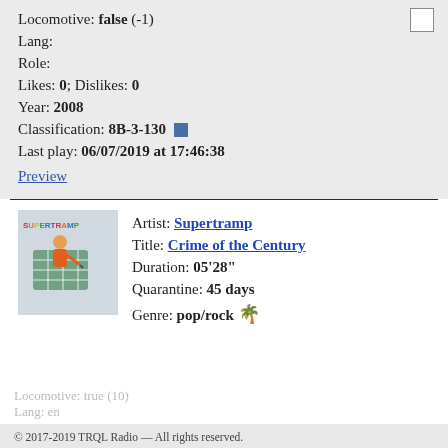Locomotive: false (-1)
Lang:
Role:
Likes: 0; Dislikes: 0
Year: 2008
Classification: 8B-3-130
Last play: 06/07/2019 at 17:46:38
Preview
[Figure (illustration): Supertramp band logo and album art thumbnail]
Artist: Supertramp
Title: Crime of the Century
Duration: 05'28"
Quarantine: 45 days
Genre: pop/rock
© 2017-2019 TRQL Radio — All rights reserved.